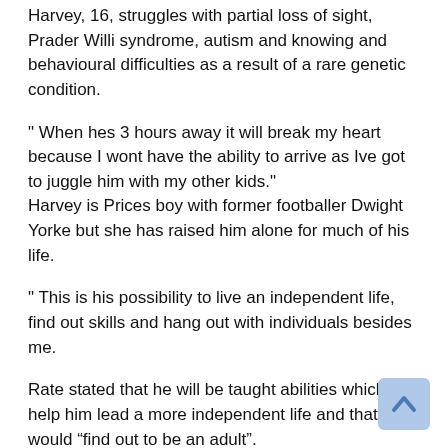Harvey, 16, struggles with partial loss of sight, Prader Willi syndrome, autism and knowing and behavioural difficulties as a result of a rare genetic condition.
" When hes 3 hours away it will break my heart because I wont have the ability to arrive as Ive got to juggle him with my other kids." Harvey is Prices boy with former footballer Dwight Yorke but she has raised him alone for much of his life.
" This is his possibility to live an independent life, find out skills and hang out with individuals besides me.
Rate stated that he will be taught abilities which will help him lead a more independent life and that he would “find out to be an adult”. The pair have actually spent six months checking out colleges for children with autism and finding out impairments and they hope Harvey can begin at their leading choice – a college in Gloucestershire – later this